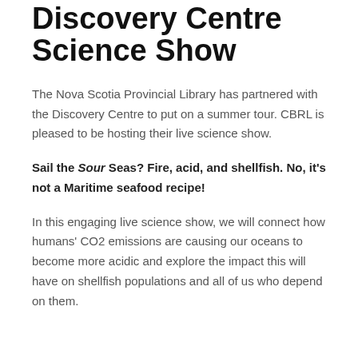Discovery Centre Science Show
The Nova Scotia Provincial Library has partnered with the Discovery Centre to put on a summer tour. CBRL is pleased to be hosting their live science show.
Sail the Sour Seas? Fire, acid, and shellfish. No, it's not a Maritime seafood recipe!
In this engaging live science show, we will connect how humans' CO2 emissions are causing our oceans to become more acidic and explore the impact this will have on shellfish populations and all of us who depend on them.